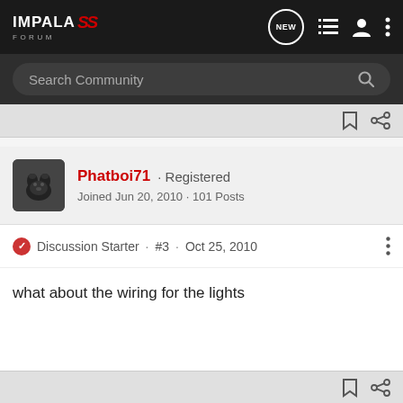IMPALA SS FORUM
Search Community
Phatboi71 · Registered
Joined Jun 20, 2010 · 101 Posts
Discussion Starter · #3 · Oct 25, 2010
what about the wiring for the lights